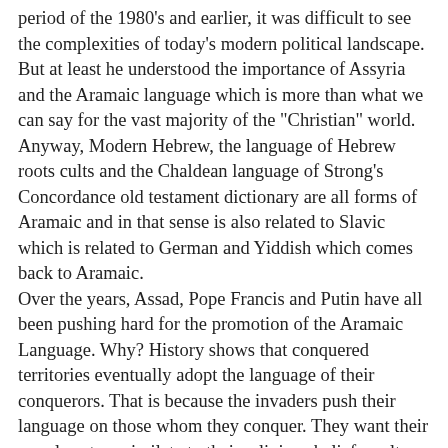period of the 1980's and earlier, it was difficult to see the complexities of today's modern political landscape. But at least he understood the importance of Assyria and the Aramaic language which is more than what we can say for the vast majority of the "Christian" world. Anyway, Modern Hebrew, the language of Hebrew roots cults and the Chaldean language of Strong's Concordance old testament dictionary are all forms of Aramaic and in that sense is also related to Slavic which is related to German and Yiddish which comes back to Aramaic. Over the years, Assad, Pope Francis and Putin have all been pushing hard for the promotion of the Aramaic Language. Why? History shows that conquered territories eventually adopt the language of their conquerors. That is because the invaders push their language on those whom they conquer. They want their populace to assimilate to their religious beliefs, culture and language. And in the case of Aramaic, the language